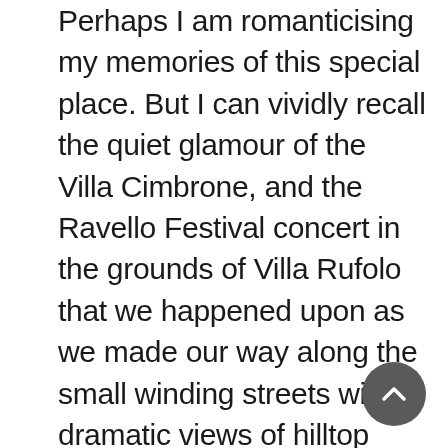Perhaps I am romanticising my memories of this special place. But I can vividly recall the quiet glamour of the Villa Cimbrone, and the Ravello Festival concert in the grounds of Villa Rufolo that we happened upon as we made our way along the small winding streets with dramatic views of hilltop houses and the beautiful coastline to the Hotel Parsifal, the converted convent where we were to stay. And I can't help but imagine that my experiences were similar to those of Escher, Greta Garbo, Humphrey Bogart, Virginia Woolf, Robert Wagner and Jacqueline Kennedy and other famous visitors who have come here seeking